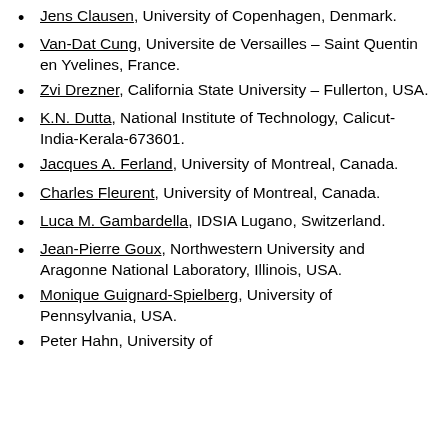Jens Clausen, University of Copenhagen, Denmark.
Van-Dat Cung, Universite de Versailles – Saint Quentin en Yvelines, France.
Zvi Drezner, California State University – Fullerton, USA.
K.N. Dutta, National Institute of Technology, Calicut-India-Kerala-673601.
Jacques A. Ferland, University of Montreal, Canada.
Charles Fleurent, University of Montreal, Canada.
Luca M. Gambardella, IDSIA Lugano, Switzerland.
Jean-Pierre Goux, Northwestern University and Aragonne National Laboratory, Illinois, USA.
Monique Guignard-Spielberg, University of Pennsylvania, USA.
Peter Hahn, University of